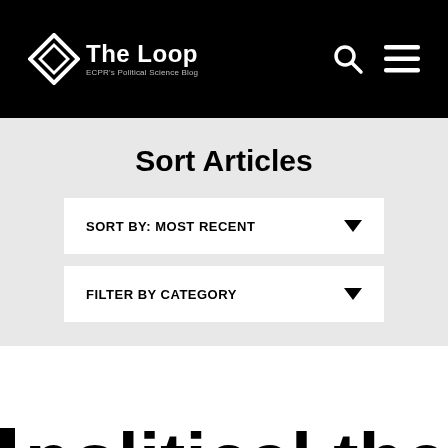The Loop — ECPR's Political Science Blog
Sort Articles
SORT BY: MOST RECENT
FILTER BY CATEGORY
political theory